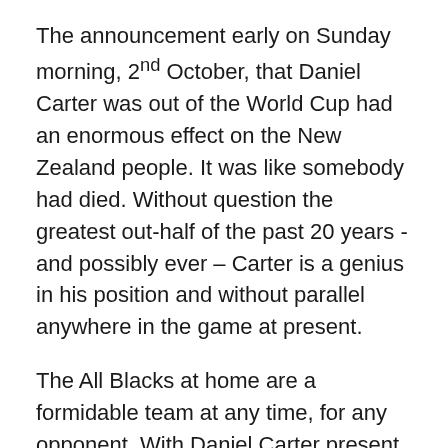The announcement early on Sunday morning, 2nd October, that Daniel Carter was out of the World Cup had an enormous effect on the New Zealand people. It was like somebody had died. Without question the greatest out-half of the past 20 years - and possibly ever – Carter is a genius in his position and without parallel anywhere in the game at present.
The All Blacks at home are a formidable team at any time, for any opponent. With Daniel Carter present they looked like an unbeatable force. Deprived of him they suffered the twin blows of his loss and strategic uncertainty because, incredibly, they have no plan B. The selection of Colin Slade and Aaron Cruden in their match-day squad for the quarter final against Argentina, coupled with the manner in which they played in that game, may yet be a fatal blow to